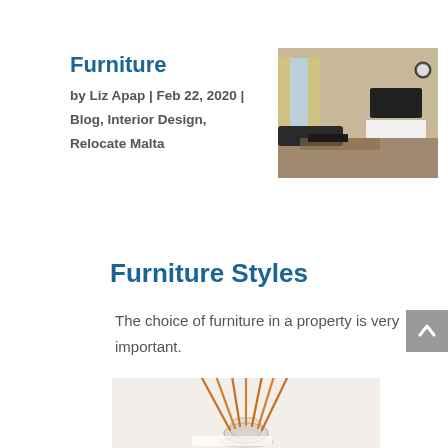Furniture
by Liz Apap | Feb 22, 2020 | Blog, Interior Design, Relocate Malta
[Figure (photo): Interior room photo showing a living area with TV, curtains, and furniture]
Furniture Styles
The choice of furniture in a property is very important.
[Figure (photo): Reed diffuser with orange sticks in a glass vase on a light surface]